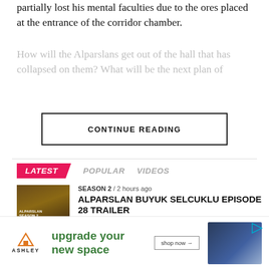partially lost his mental faculties due to the ores placed at the entrance of the corridor chamber.
How will the Alparslans get out of the hall that has collapsed on them? What will be the next plan of
CONTINUE READING
LATEST   POPULAR   VIDEOS
SEASON 2 / 2 hours ago
ALPARSLAN BUYUK SELCUKLU EPISODE 28 TRAILER
POLITICAL ARTICLES / 4 hours ago
GLOBALISM VERSUS NATIONALISM
[Figure (infographic): Ashley Furniture advertisement banner: logo with house icon and ASHLEY text, green text 'upgrade your new space', 'shop now ->' button, blue sofa image on right]